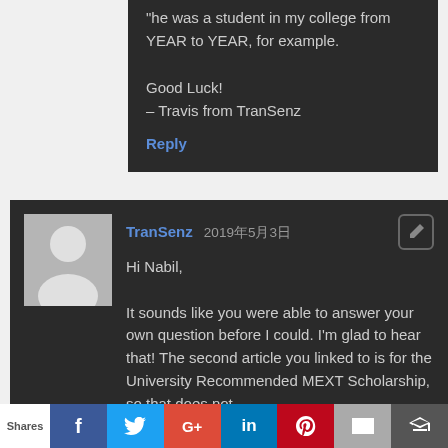"he was a student in my college from YEAR to YEAR, for example.

Good Luck!
– Travis from TranSenz
Reply
TranSenz 2019年5月3日
Hi Nabil,

It sounds like you were able to answer your own question before I could. I'm glad to hear that! The second article you linked to is for the University Recommended MEXT Scholarship, so that does not
Shares | f | t | G+ | in | P | mail | crown